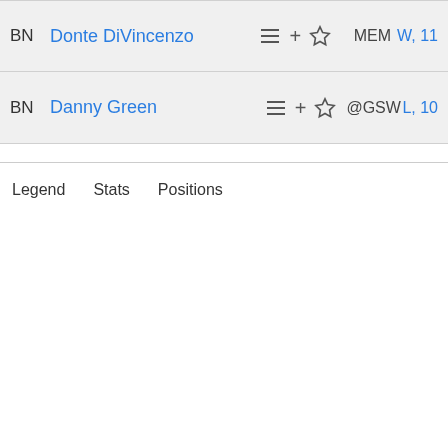| Pos | Player |  | Team | Game |
| --- | --- | --- | --- | --- |
| BN | Donte DiVincenzo | ☰ + ☆ | MEM | W, 11 |
| BN | Danny Green | ☰ + ☆ | @GSW | L, 10 |
Legend   Stats   Positions